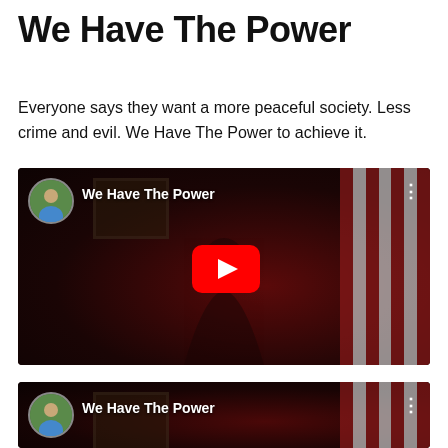We Have The Power
Everyone says they want a more peaceful society. Less crime and evil. We Have The Power to achieve it.
[Figure (screenshot): YouTube video embed showing 'We Have The Power' with a bearded man in a dark red room, American flag visible on right, circular avatar of a man in blue shirt on upper left, YouTube play button in center.]
[Figure (screenshot): Second YouTube video embed (partial, bottom of page) showing 'We Have The Power' with same thumbnail style — circular avatar, video title text, three-dot menu.]